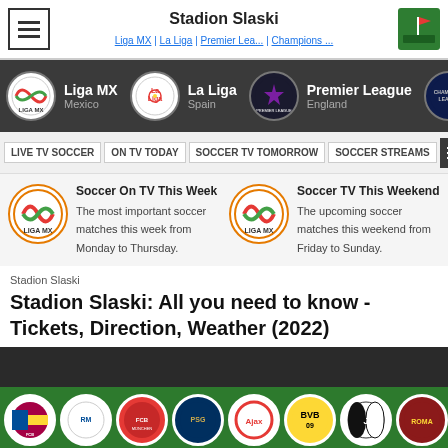Stadion Slaski | Liga MX | La Liga | Premier Lea... | Champions ...
[Figure (screenshot): League navigation bar with Liga MX, La Liga, Premier League, Champions League logos]
LIVE TV SOCCER | ON TV TODAY | SOCCER TV TOMORROW | SOCCER STREAMS
[Figure (infographic): Soccer On TV This Week promo card with Liga MX icon]
[Figure (infographic): Soccer TV This Weekend promo card with Liga MX icon]
Stadion Slaski
Stadion Slaski: All you need to know - Tickets, Direction, Weather (2022)
[Figure (infographic): Club logos bar: FC Barcelona, Real Madrid, Bayern Munich, PSG, Ajax, BVB, Juventus, AS Roma, AC Milan]